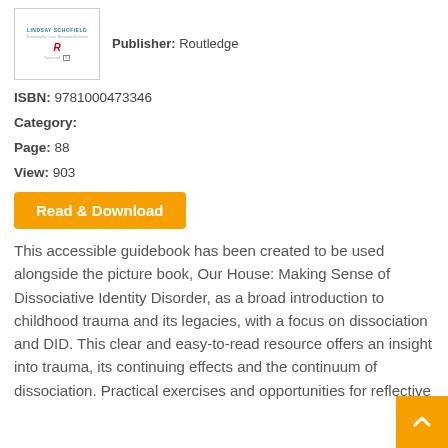[Figure (illustration): Thumbnail of book cover for a book by Lindsay Schofield, published by Routledge]
Publisher: Routledge
ISBN: 9781000473346
Category:
Page: 88
View: 903
Read & Download
This accessible guidebook has been created to be used alongside the picture book, Our House: Making Sense of Dissociative Identity Disorder, as a broad introduction to childhood trauma and its legacies, with a focus on dissociation and DID. This clear and easy-to-read resource offers an insight into trauma, its continuing effects and the continuum of dissociation. Practical exercises and opportunities for reflective